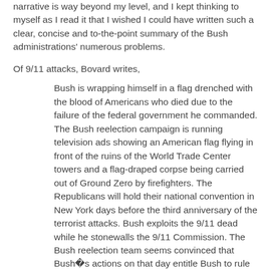narrative is way beyond my level, and I kept thinking to myself as I read it that I wished I could have written such a clear, concise and to-the-point summary of the Bush administrations' numerous problems.
Of 9/11 attacks, Bovard writes,
Bush is wrapping himself in a flag drenched with the blood of Americans who died due to the failure of the federal government he commanded. The Bush reelection campaign is running television ads showing an American flag flying in front of the ruins of the World Trade Center towers and a flag-draped corpse being carried out of Ground Zero by firefighters. The Republicans will hold their national convention in New York days before the third anniversary of the terrorist attacks. Bush exploits the 9/11 dead while he stonewalls the 9/11 Commission. The Bush reelection team seems convinced that Bush�s actions on that day entitle Bush to rule Americans for four more years.